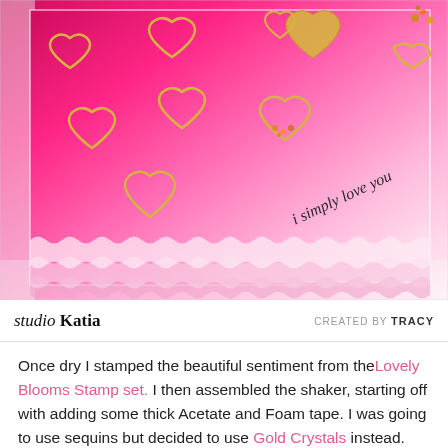[Figure (photo): A handmade Valentine's card photographed at an angle showing multiple gold-outlined heart cutouts on a pink ombre background with scalloped edges. Some hearts contain sequins/crystals. The sentiment 'i simply love you' is stamped in script on the lower right.]
studio katia   CREATED BY TRACY
Once dry I stamped the beautiful sentiment from the Lovely Blooms Stamp set. I then assembled the shaker, starting off with adding some thick Acetate and Foam tape. I was going to use sequins but decided to use Gold Crystals instead. The piece of card I inked up